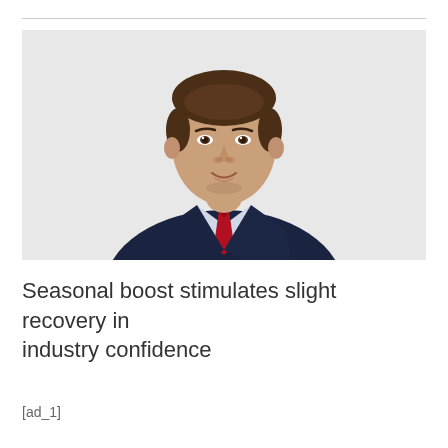[Figure (photo): Headshot of a man in a dark navy suit and red tie, white shirt, against a light background. He has short dark hair and is looking directly at the camera with a slight smile.]
Seasonal boost stimulates slight recovery in industry confidence
[ad_1]